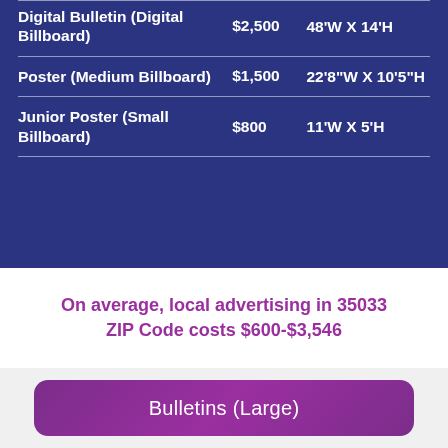| Product | Price | Size |
| --- | --- | --- |
| Digital Bulletin (Digital Billboard) | $2,500 | 48'W X 14'H |
| Poster (Medium Billboard) | $1,500 | 22'8"W X 10'5"H |
| Junior Poster (Small Billboard) | $800 | 11'W X 5'H |
On average, local advertising in 35033 ZIP Code costs $600-$3,546
Bulletins (Large)